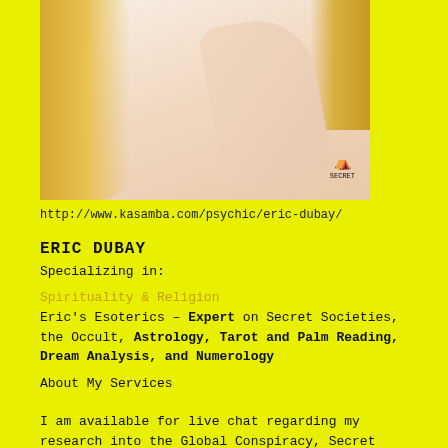[Figure (photo): Woman with blonde hair covering one eye with hand wearing rings, with a 'Secret' logo in bottom right corner]
http://www.kasamba.com/psychic/eric-dubay/
ERIC DUBAY
Specializing in:
Spirituality & Religion
Eric's Esoterics – Expert on Secret Societies, the Occult, Astrology, Tarot and Palm Reading, Dream Analysis, and Numerology
About My Services
I am available for live chat regarding my research into the Global Conspiracy, Secret Societies, Ancient Religion,